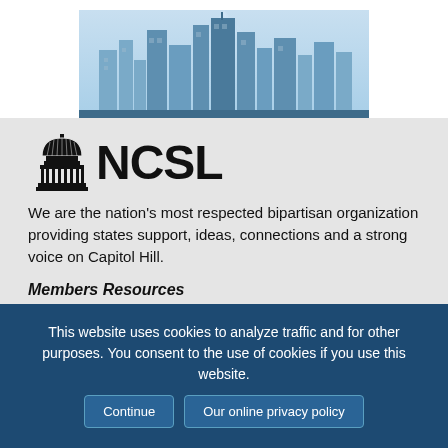[Figure (illustration): City skyline silhouette in blue tones against a light blue sky with rays of light]
[Figure (logo): NCSL logo with capitol dome icon and text NCSL]
We are the nation's most respected bipartisan organization providing states support, ideas, connections and a strong voice on Capitol Hill.
Members Resources
This website uses cookies to analyze traffic and for other purposes. You consent to the use of cookies if you use this website.